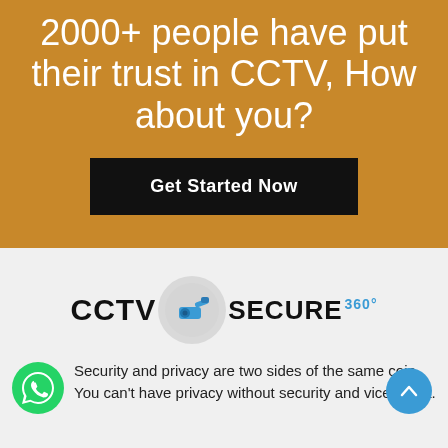2000+ people have put their trust in CCTV, How about you?
Get Started Now
[Figure (logo): CCTV Secure 360° logo with camera icon on grey circle]
Security and privacy are two sides of the same coin. You can't have privacy without security and vice versa.